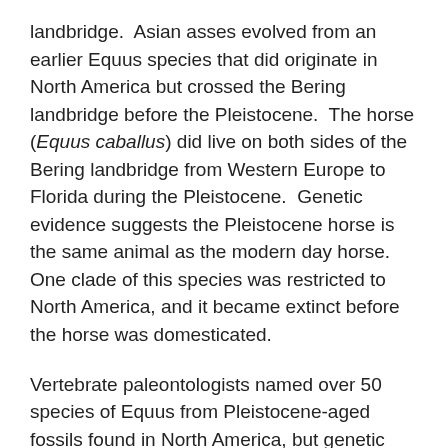landbridge.  Asian asses evolved from an earlier Equus species that did originate in North America but crossed the Bering landbridge before the Pleistocene.  The horse (Equus caballus) did live on both sides of the Bering landbridge from Western Europe to Florida during the Pleistocene.  Genetic evidence suggests the Pleistocene horse is the same animal as the modern day horse.  One clade of this species was restricted to North America, and it became extinct before the horse was domesticated.
Vertebrate paleontologists named over 50 species of Equus from Pleistocene-aged fossils found in North America, but genetic evidence suggests there were just 2–the horse and the North American half-ass.  A 3rd species of Pleistocene horse, the hippidion, lived in South America.